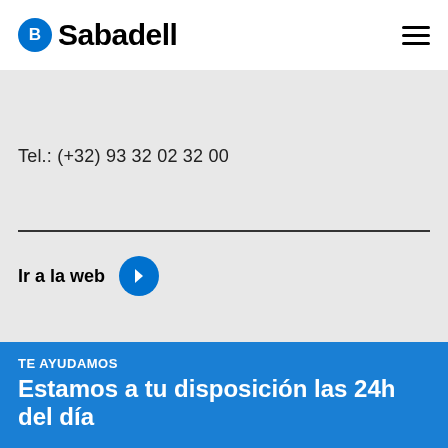Sabadell
Tel.: (+32) 93 32 02 32 00
Ir a la web
TE AYUDAMOS
Estamos a tu disposición las 24h del día